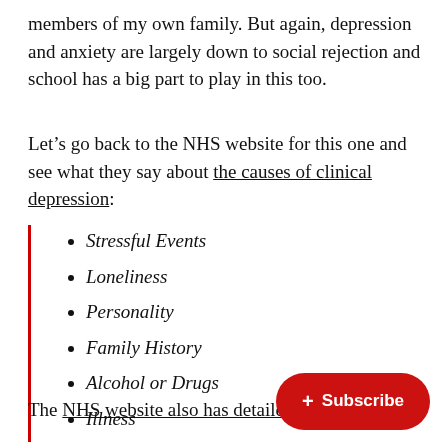members of my own family. But again, depression and anxiety are largely down to social rejection and school has a big part to play in this too.
Let's go back to the NHS website for this one and see what they say about the causes of clinical depression:
Stressful Events
Loneliness
Personality
Family History
Alcohol or Drugs
Illness
The NHS website also has detailed k... subject of Anxiety;